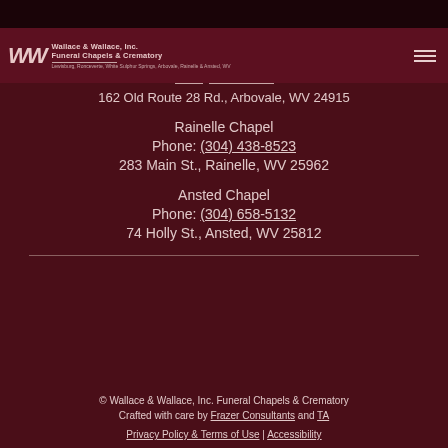Wallace & Wallace, Inc. Funeral Chapels & Crematory — Lewisburg, Ronceverte, White Sulphur Springs, Arbovale, Rainelle & Ansted, WV
162 Old Route 28 Rd., Arbovale, WV 24915
Rainelle Chapel
Phone: (304) 438-8523
283 Main St., Rainelle, WV 25962
Ansted Chapel
Phone: (304) 658-5132
74 Holly St., Ansted, WV 25812
© Wallace & Wallace, Inc. Funeral Chapels & Crematory
Crafted with care by Frazer Consultants and TA
Privacy Policy & Terms of Use | Accessibility